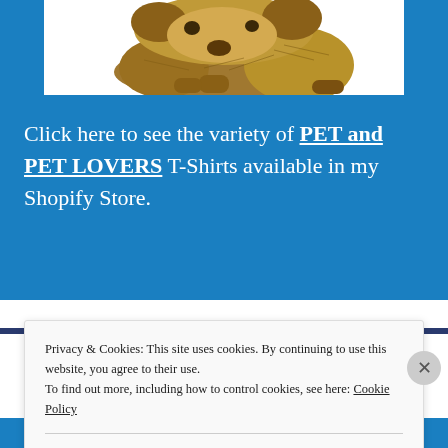[Figure (illustration): Illustration of a dog (golden/brown colored, sitting or resting) on a white background, partially cropped showing the lower body portion]
Click here to see the variety of PET and PET LOVERS T-Shirts available in my Shopify Store.
Privacy & Cookies: This site uses cookies. By continuing to use this website, you agree to their use.
To find out more, including how to control cookies, see here: Cookie Policy
Close and accept